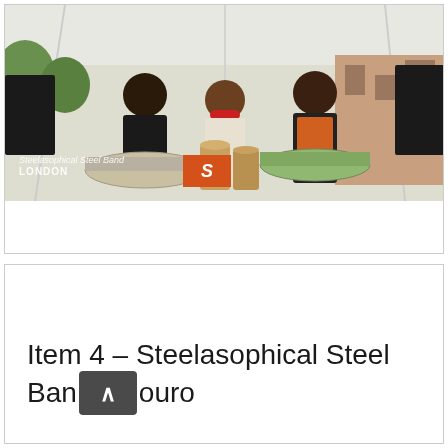[Figure (photo): Three musicians playing steel drums and percussion instruments outdoors under a white tent canopy. The band is Steelasophical Steel Band London. An orange logo/sign is visible. Buildings and trees in background.]
Item 4 – Steelasophical Steel Band £ouro